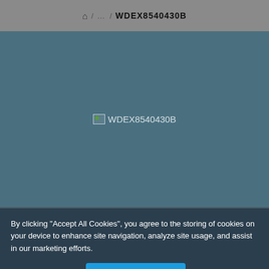⌂ / … / WDEX8540430B
[Figure (screenshot): Broken image placeholder showing text 'WDEX8540430B' on a teal/slate background]
By clicking “Accept All Cookies”, you agree to the storing of cookies on your device to enhance site navigation, analyze site usage, and assist in our marketing efforts.
Cookies Settings
Accept All Cookies